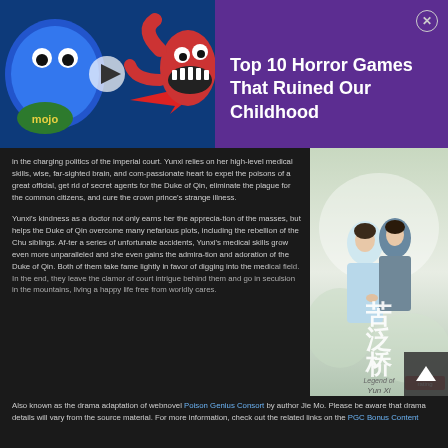[Figure (screenshot): Ad banner: WatchMojo horror games video thumbnail with Huggy Wuggy character on dark blue background with red tentacles and sharp teeth]
Top 10 Horror Games That Ruined Our Childhood
in the charging politics of the imperial court. Yunxi relies on her high-level medical skills, wise, far-sighted brain, and compassionate heart to expel the poisons of a great official, get rid of secret agents for the Duke of Qin, eliminate the plague for the common citizens, and cure the crown prince's strange illness.
[Figure (photo): Book/drama cover image with Chinese characters and two figures in traditional clothing, titled with Chinese text and 'Yun Xi']
Yunxi's kindness as a doctor not only earns her the appreciation of the masses, but helps the Duke of Qin overcome many nefarious plots, including the rebellion of the Chu siblings. After a series of unfortunate accidents, Yunxi's medical skills grow even more unparalleled and she even gains the admiration and adoration of the Duke of Qin. Both of them take fame lightly in favor of digging into the medical field. In the end, they leave the clamor of court intrigue behind them and go in seclusion in the mountains, living a happy life free from worldly cares.
Also known as the drama adaptation of webnovel Poison Genius Consort by author Jie Mo. Please be aware that drama details will vary from the source material. For more information, check out the related links on the PGC Bonus Content